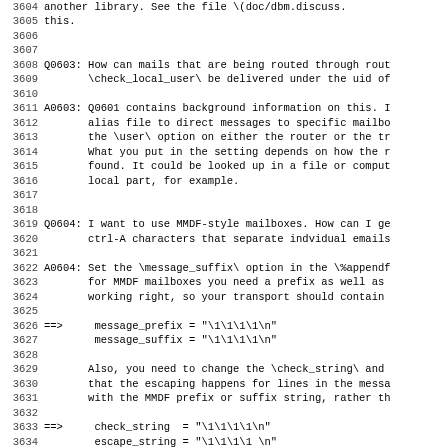Lines 3604-3635 of a technical documentation/FAQ file about email routing, MMDF mailboxes, and Exim configuration options.
3604: another library. See the file \(doc/dbm.discuss.
3605: this.
3606: (blank)
3607: (blank)
3608 Q0603: How can mails that are being routed through rout
3609: \check_local_user\ be delivered under the uid of
3610: (blank)
3611 A0603: Q0601 contains background information on this. I
3612: alias file to direct messages to specific mailbo
3613: the \user\ option on either the router or the tr
3614: What you put in the setting depends on how the r
3615: found. It could be looked up in a file or comput
3616: local part, for example.
3617: (blank)
3618: (blank)
3619 Q0604: I want to use MMDF-style mailboxes. How can I ge
3620: ctrl-A characters that separate indvidual emails
3621: (blank)
3622 A0604: Set the \message_suffix\ option in the \%appendf
3623: for MMDF mailboxes you need a prefix as well as
3624: working right, so your transport should contain
3625: (blank)
3626 ==>     message_prefix = "\1\1\1\1\n"
3627         message_suffix = "\1\1\1\1\n"
3628: (blank)
3629: Also, you need to change the \check_string\ and
3630: that the escaping happens for lines in the messa
3631: with the MMDF prefix or suffix string, rather th
3632: (blank)
3633 ==>     check_string  = "\1\1\1\1\n"
3634         escape_string = "\1\1\1\1 \n"
3635: (blank)